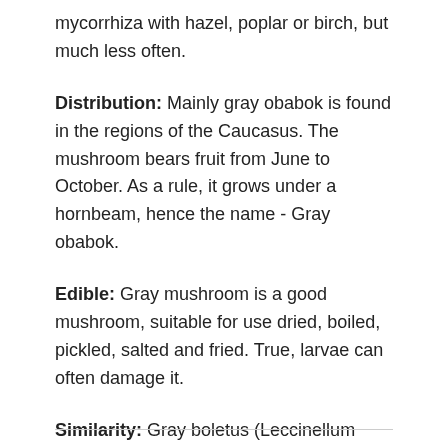mycorrhiza with hazel, poplar or birch, but much less often.
Distribution: Mainly gray obabok is found in the regions of the Caucasus. The mushroom bears fruit from June to October. As a rule, it grows under a hornbeam, hence the name - Gray obabok.
Edible: Gray mushroom is a good mushroom, suitable for use dried, boiled, pickled, salted and fried. True, larvae can often damage it.
Similarity: Gray boletus (Leccinellum pseudoscabrum) - similar to boletus. Boletus differs from Gray obabok in that when broken, its pulp does not change color. At the same time, Gray Obabok is less valuable in taste due to the low density of the cap pulp.